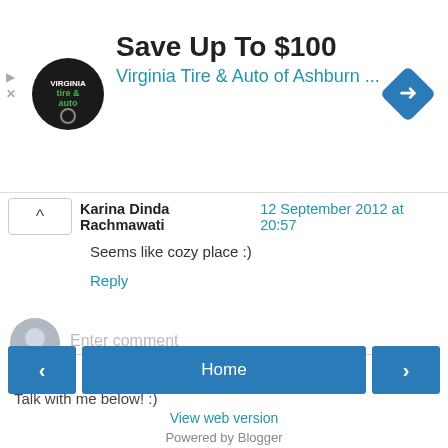[Figure (screenshot): Advertisement banner for Virginia Tire & Auto of Ashburn with logo and blue diamond arrow icon. Shows 'Save Up To $100' headline.]
Karina Dinda Rachmawati  12 September 2012 at 20:57
Seems like cozy place :)
Reply
Enter comment
Talk with me below! :)
Home
View web version
Powered by Blogger